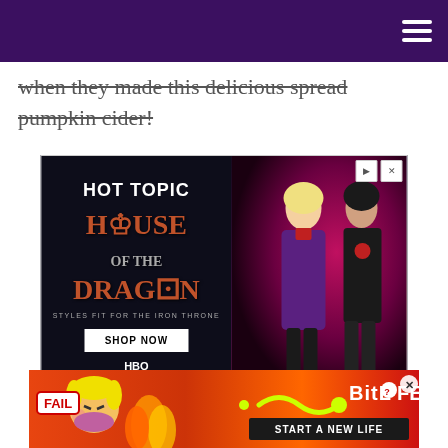when they made this delicious spread pumpkin cider!
[Figure (screenshot): Hot Topic advertisement for House of the Dragon merchandise. Shows 'HOT TOPIC' logo at top, stylized 'House of the Dragon' text in copper/orange tones, 'Styles Fit For The Iron Throne' tagline, 'SHOP NOW' button, HBO logo at bottom left. Right side shows two models in fantasy-inspired costumes against a red/purple background.]
[Figure (screenshot): BitLife mobile game advertisement. Orange/red fire background with a cartoon blonde woman facepalming, 'FAIL' badge, fire flames, BitLife logo with question mark, and 'START A NEW LIFE' text on dark button.]